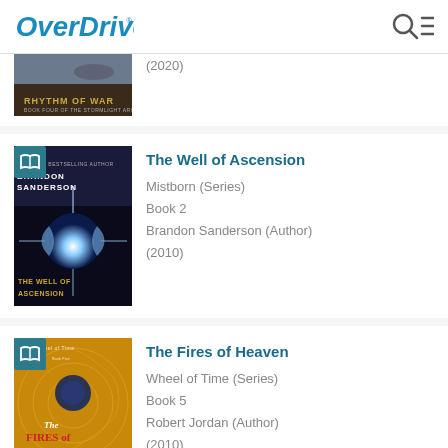OverDrive
[Figure (photo): Book cover for Rhythm of War (partially visible, bottom portion only)]
(2020)
[Figure (photo): Book cover for The Well of Ascension by Brandon Sanderson with open book badge icon]
The Well of Ascension
Mistborn (Series)
Book 2
Brandon Sanderson (Author)
(2010)
[Figure (photo): Book cover for The Fires of Heaven with open book badge icon, golden/yellow design]
The Fires of Heaven
Wheel of Time (Series)
Book 5
Robert Jordan (Author)
(2010)